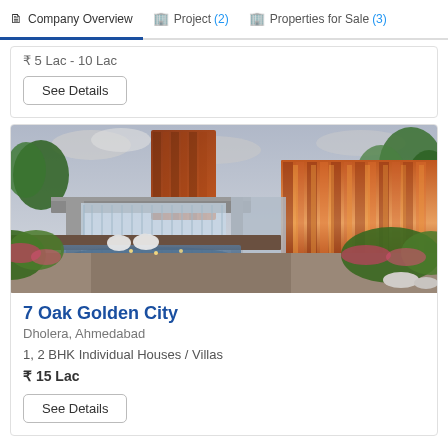Company Overview | Project (2) | Properties for Sale (3)
₹ 5 Lac - 10 Lac
See Details
[Figure (photo): Architectural rendering of 7 Oak Golden City villa entrance with modern design, red brick walls, glass facades, swan sculptures, and lush greenery]
7 Oak Golden City
Dholera, Ahmedabad
1, 2 BHK Individual Houses / Villas
₹ 15 Lac
See Details